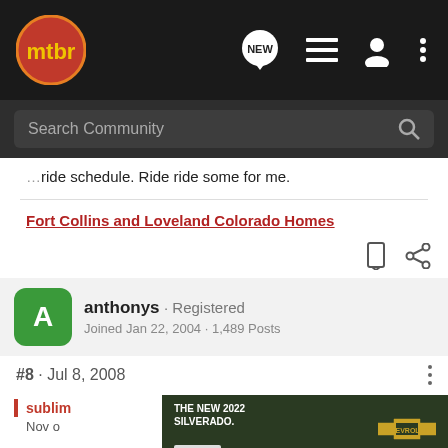mtbr — navigation bar with search
ride schedule. Ride ride some for me.
Fort Collins and Loveland Colorado Homes
anthonys · Registered
Joined Jan 22, 2004 · 1,489 Posts
#8 · Jul 8, 2008
[Figure (screenshot): Chevrolet Silverado 2022 advertisement banner]
sublim...